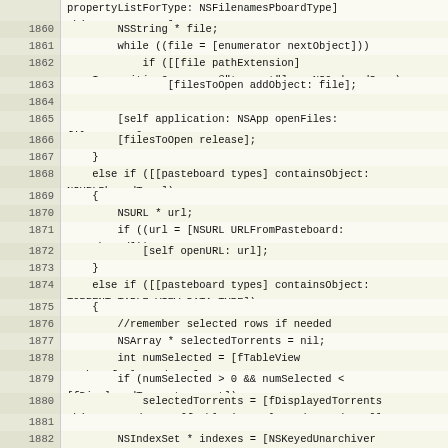[Figure (screenshot): Source code listing in Objective-C showing lines 1859-1882. The code handles pasteboard types including NSFilenamesPboardType, NSURLPboardType, and TORRENT_TABLE_VIEW_DATA_TYPE, opening files or URLs accordingly.]